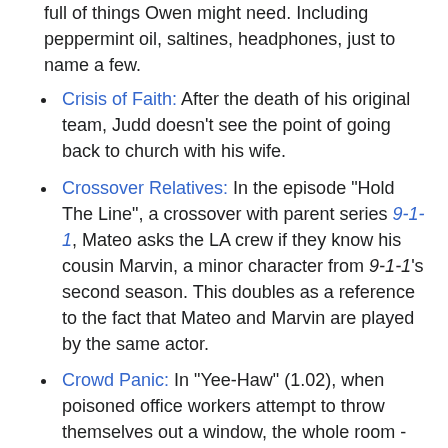full of things Owen might need. Including peppermint oil, saltines, headphones, just to name a few.
Crisis of Faith: After the death of his original team, Judd doesn't see the point of going back to church with his wife.
Crossover Relatives: In the episode "Hold The Line", a crossover with parent series 9-1-1, Mateo asks the LA crew if they know his cousin Marvin, a minor character from 9-1-1's second season. This doubles as a reference to the fact that Mateo and Marvin are played by the same actor.
Crowd Panic: In "Yee-Haw" (1.02), when poisoned office workers attempt to throw themselves out a window, the whole room - other workers and the emergency services - freak out, not knowing what was causing the suicide attempts.
Dance Party Ending: The ending of the "Pilot" (1.01) after the team's first successful mission.